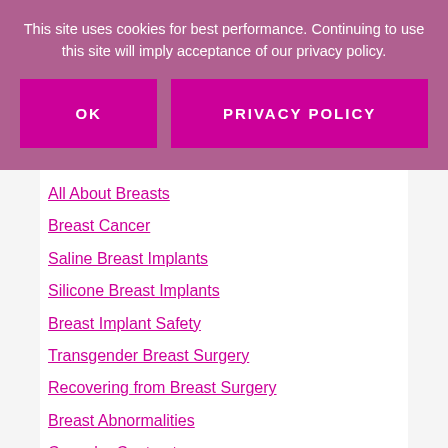This site uses cookies for best performance. Continuing to use this site will imply acceptance of our privacy policy.
OK
PRIVACY POLICY
All About Breasts
Breast Cancer
Saline Breast Implants
Silicone Breast Implants
Breast Implant Safety
Transgender Breast Surgery
Recovering from Breast Surgery
Breast Abnormalities
Capsular Contracture
Gynecomastia
Breastfeeding